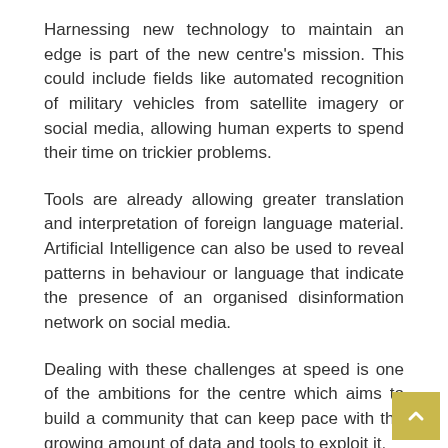Harnessing new technology to maintain an edge is part of the new centre's mission. This could include fields like automated recognition of military vehicles from satellite imagery or social media, allowing human experts to spend their time on trickier problems.
Tools are already allowing greater translation and interpretation of foreign language material. Artificial Intelligence can also be used to reveal patterns in behaviour or language that indicate the presence of an organised disinformation network on social media.
Dealing with these challenges at speed is one of the ambitions for the centre which aims to build a community that can keep pace with the growing amount of data and tools to exploit it.
Share this: